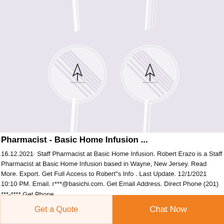[Figure (photo): Two transparent medical infusion devices (IV check valves or flow regulators) photographed from above on a light lavender/grey background. Each device has a circular disc body with an arrow indicator and thin tube connectors extending from top and bottom.]
Pharmacist - Basic Home Infusion ...
16.12.2021· Staff Pharmacist at Basic Home Infusion. Robert Erazo is a Staff Pharmacist at Basic Home Infusion based in Wayne, New Jersey. Read More. Export. Get Full Access to Robert"s Info . Last Update. 12/1/2021 10:10 PM. Email. r***@basichi.com. Get Email Address. Direct Phone (201) ***-**** Get Phone
Get a Quote
Chat Now